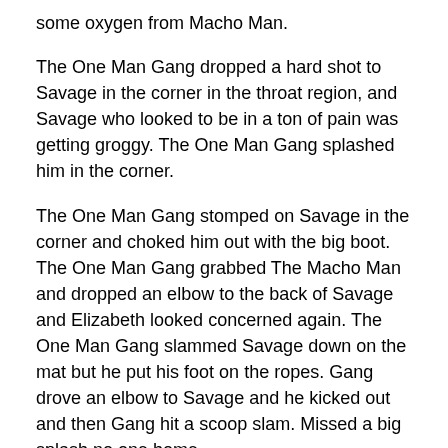some oxygen from Macho Man.
The One Man Gang dropped a hard shot to Savage in the corner in the throat region, and Savage who looked to be in a ton of pain was getting groggy. The One Man Gang splashed him in the corner.
The One Man Gang stomped on Savage in the corner and choked him out with the big boot. The One Man Gang grabbed The Macho Man and dropped an elbow to the back of Savage and Elizabeth looked concerned again. The One Man Gang slammed Savage down on the mat but he put his foot on the ropes. Gang drove an elbow to Savage and he kicked out and then Gang hit a scoop slam. Missed a big splash no one home.
The One Man Gang charged into the corner and hit no one, Savage with hard shots and an elbow to the throat of Gang. Savage chrged to Gang and he was tied in the ropes. Macho Man jumped from the top and bombs away, he hit the double axehandle to The One Man Gang.